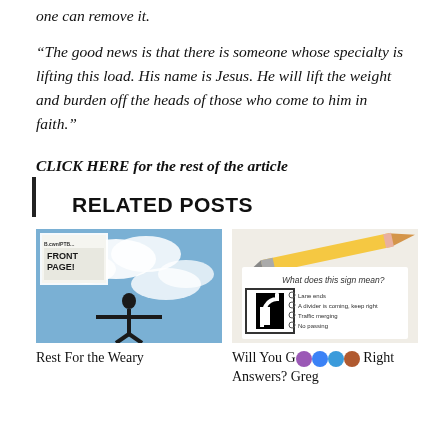one can remove it.
“The good news is that there is someone whose specialty is lifting this load. His name is Jesus. He will lift the weight and burden off the heads of those who come to him in faith.”
CLICK HERE for the rest of the article
RELATED POSTS
[Figure (photo): Newspaper front page with person standing with arms outstretched against a cloudy sky background]
[Figure (photo): A pencil resting on a driving test quiz asking 'What does this sign mean?' with a road sign showing a split arrow]
Rest For the Weary
Will You Get Through Right Answers? Greg